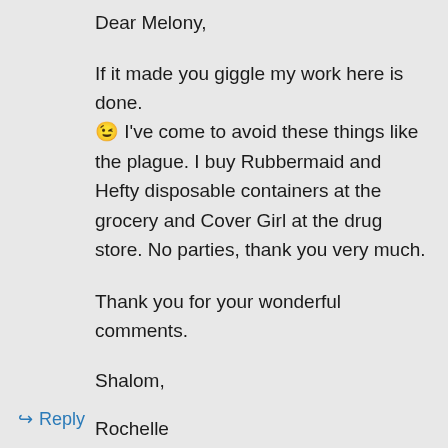Dear Melony,
If it made you giggle my work here is done. 😉 I've come to avoid these things like the plague. I buy Rubbermaid and Hefty disposable containers at the grocery and Cover Girl at the drug store. No parties, thank you very much.
Thank you for your wonderful comments.
Shalom,
Rochelle
Liked by 1 person
Reply